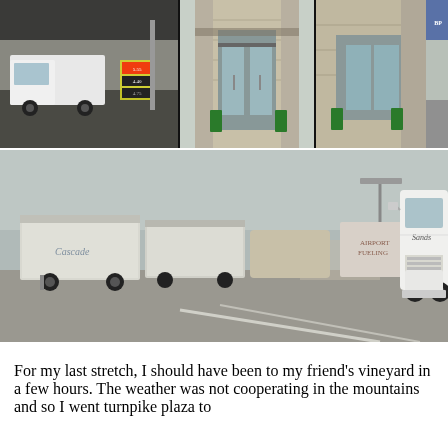[Figure (photo): Three-panel photo collage at top: left panel shows a white pickup truck at a gas station with price signs visible; center panel shows the entrance of a stone-facade building with glass doors and green trash cans; right panel shows another view of the same stone building exterior with green trash cans.]
[Figure (photo): Wide photo of a truck stop or turnpike plaza parking area showing multiple semi-trucks and trailers parked in a row, with a large white Freightliner cab visible on the right side bearing the 'Sands' logo.]
For my last stretch, I should have been to my friend's vineyard in a few hours. The weather was not cooperating in the mountains and so I went turnpike plaza to